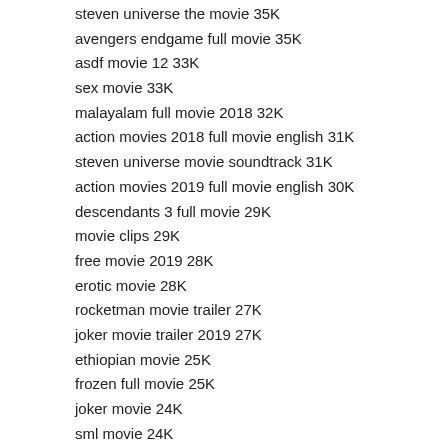steven universe the movie 35K
avengers endgame full movie 35K
asdf movie 12 33K
sex movie 33K
malayalam full movie 2018 32K
action movies 2018 full movie english 31K
steven universe movie soundtrack 31K
action movies 2019 full movie english 30K
descendants 3 full movie 29K
movie clips 29K
free movie 2019 28K
erotic movie 28K
rocketman movie trailer 27K
joker movie trailer 2019 27K
ethiopian movie 25K
frozen full movie 25K
joker movie 24K
sml movie 24K
bumblebee movie 24K
broly movie 24K
unplanned movie trailer 23K
mortal kombat movie 23K
bee movie game 23K
telugu movie 23K
malayalam movie 23K